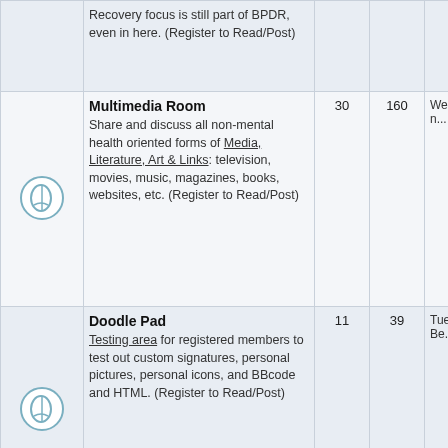| Icon | Forum | Topics | Posts | Last Post |
| --- | --- | --- | --- | --- |
| [icon] | Recovery focus is still part of BPDR, even in here. (Register to Read/Post) |  |  |  |
| [icon] | Multimedia Room — Share and discuss all non-mental health oriented forms of Media, Literature, Art & Links: television, movies, music, magazines, books, websites, etc. (Register to Read/Post) | 30 | 160 | Wed Au... |
| [icon] | Doodle Pad — Testing area for registered members to test out custom signatures, personal pictures, personal icons, and BBcode and HTML. (Register to Read/Post) | 11 | 39 | Tue No... Be... |
| [icon] | Games — A forum for online word games. (Register to Read/Post) | 17 | 1733 | Fri De... h... |